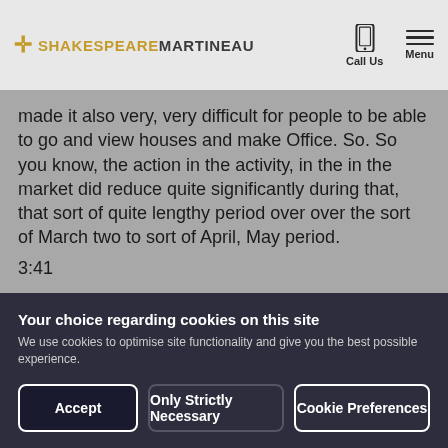SHAKESPEARE MARTINEAU | Call Us | Menu
made it also very, very difficult for people to be able to go and view houses and make Office. So. So you know, the action in the activity, in the in the market did reduce quite significantly during that, that sort of quite lengthy period over over the sort of March two to sort of April, May period.
3:41
Now when the country was coming out of Lockdown and what we found was there was quite a lot of pent up
Your choice regarding cookies on this site
We use cookies to optimise site functionality and give you the best possible experience.
Accept
Only Strictly Necessary
Cookie Preferences